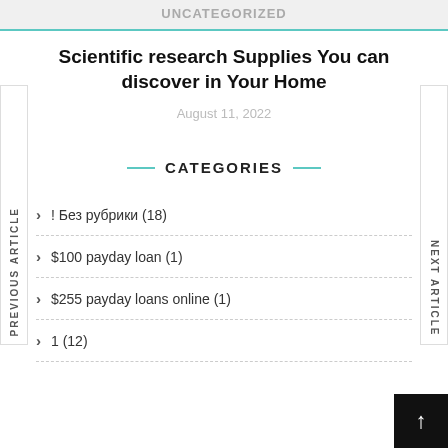UNCATEGORIZED
Scientific research Supplies You can discover in Your Home
August 11, 2022
CATEGORIES
! Без рубрики (18)
$100 payday loan (1)
$255 payday loans online (1)
1 (12)